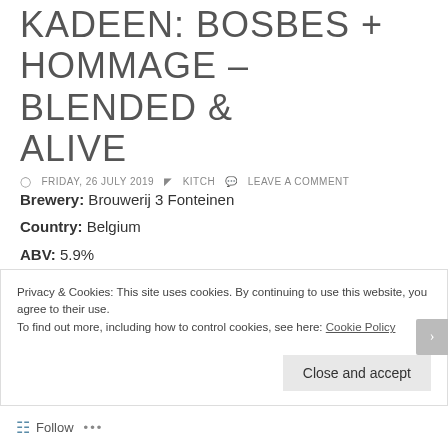KADEEN: BOSBES + HOMMAGE – BLENDED & ALIVE
FRIDAY, 26 JULY 2019  KITCH  LEAVE A COMMENT
Brewery: Brouwerij 3 Fonteinen
Country: Belgium
ABV: 5.9%
Style: Belgian Lambic (Fruit)
Other Notes: This fruit lambic is a blend of 85% blueberry lambic and 15% Hommage lambic (75% raspberries and 25% sour cherries). After the maceration, the fruit lambic has been b... i...
Privacy & Cookies: This site uses cookies. By continuing to use this website, you agree to their use.
To find out more, including how to control cookies, see here: Cookie Policy
Close and accept
Follow